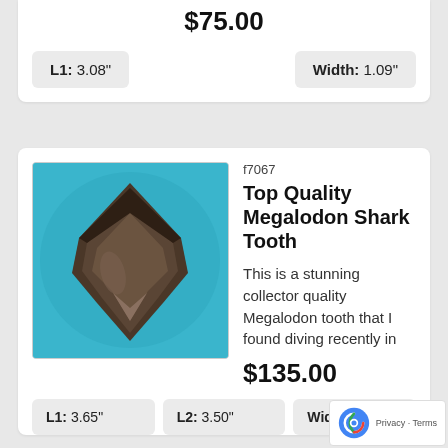$75.00
L1: 3.08"
Width: 1.09"
f7067
Top Quality Megalodon Shark Tooth
This is a stunning collector quality Megalodon tooth that I found diving recently in
$135.00
L1: 3.65"
L2: 3.50"
Width: 2.9